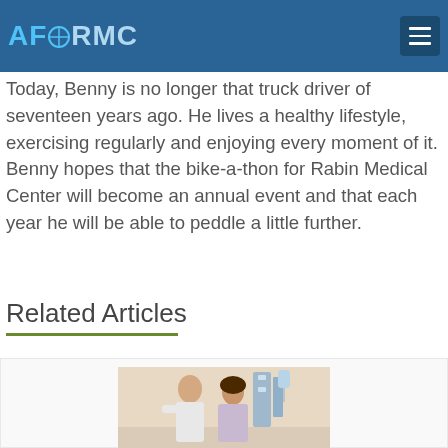AFORMC [logo] — Rabin Medical Center
Today, Benny is no longer that truck driver of seventeen years ago. He lives a healthy lifestyle, exercising regularly and enjoying every moment of it. Benny hopes that the bike-a-thon for Rabin Medical Center will become an annual event and that each year he will be able to peddle a little further.
Related Articles
[Figure (photo): A man and woman posing together in a medical setting with hospital equipment visible in the background.]